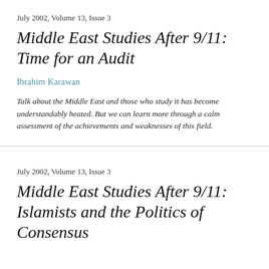July 2002, Volume 13, Issue 3
Middle East Studies After 9/11: Time for an Audit
Ibrahim Karawan
Talk about the Middle East and those who study it has become understandably heated. But we can learn more through a calm assessment of the achievements and weaknesses of this field.
July 2002, Volume 13, Issue 3
Middle East Studies After 9/11: Islamists and the Politics of Consensus